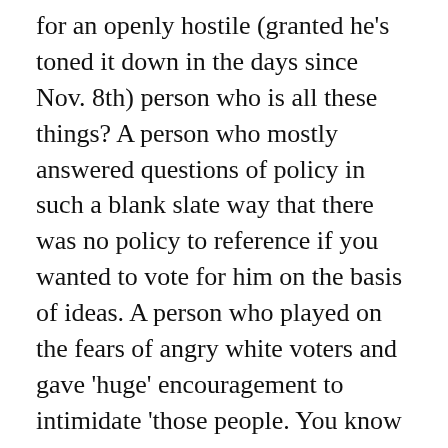for an openly hostile (granted he's toned it down in the days since Nov. 8th) person who is all these things? A person who mostly answered questions of policy in such a blank slate way that there was no policy to reference if you wanted to vote for him on the basis of ideas. A person who played on the fears of angry white voters and gave 'huge' encouragement to intimidate 'those people. You know who they are, you know' at the polls and suggested that the '2nd Amendment people' get to his opponent. I hear a lot of my friends, and myself, saying a lot of things that start with, 'Okay, so you're not racist/sexist/xenophobic but…' I've believed it about those I've known as real life people, but I think the blanket exemption is not altogether